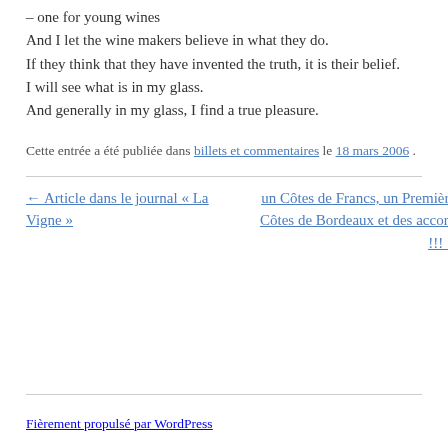– one for young wines
And I let the wine makers believe in what they do.
If they think that they have invented the truth, it is their belief.
I will see what is in my glass.
And generally in my glass, I find a true pleasure.
Cette entrée a été publiée dans billets et commentaires le 18 mars 2006 .
← Article dans le journal « La Vigne »
un Côtes de Francs, un Premières Côtes de Bordeaux et des accords !!! →
Fièrement propulsé par WordPress